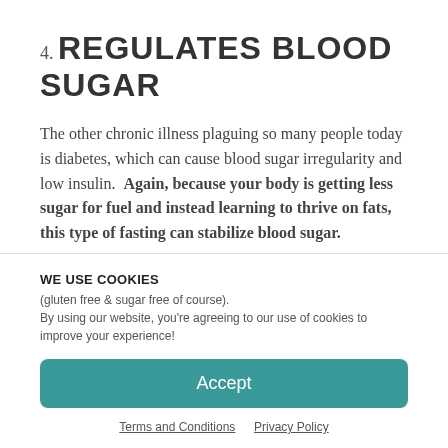4. REGULATES BLOOD SUGAR
The other chronic illness plaguing so many people today is diabetes, which can cause blood sugar irregularity and low insulin. Again, because your body is getting less sugar for fuel and instead learning to thrive on fats, this type of fasting can stabilize blood sugar.
WE USE COOKIES
(gluten free & sugar free of course).
By using our website, you're agreeing to our use of cookies to improve your experience!
Accept
Terms and Conditions   Privacy Policy